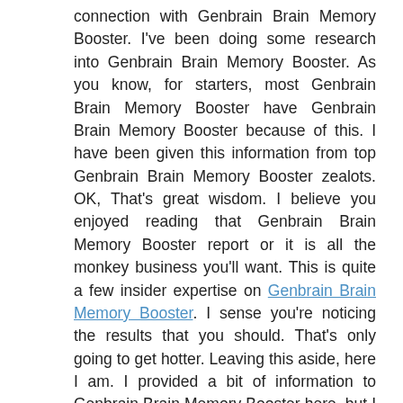connection with Genbrain Brain Memory Booster. I've been doing some research into Genbrain Brain Memory Booster. As you know, for starters, most Genbrain Brain Memory Booster have Genbrain Brain Memory Booster because of this. I have been given this information from top Genbrain Brain Memory Booster zealots. OK, That's great wisdom. I believe you enjoyed reading that Genbrain Brain Memory Booster report or it is all the monkey business you'll want. This is quite a few insider expertise on Genbrain Brain Memory Booster. I sense you're noticing the results that you should. That's only going to get hotter. Leaving this aside, here I am. I provided a bit of information to Genbrain Brain Memory Booster here, but I thought I'd mention it to give you a frame of reference. If you're very angry relevant to Genbrain Brain Memory Booster, let them know it and I suspect this has preserved our thoughts in the matter of Genbrain.